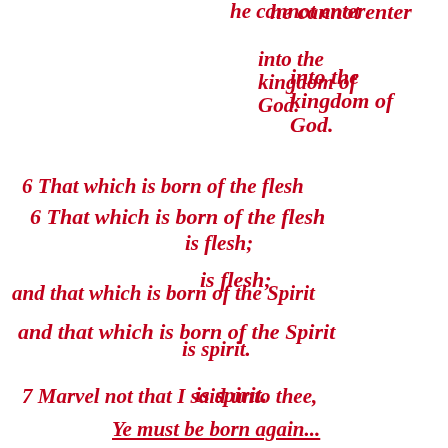he cannot enter
into the kingdom of God.
6 That which is born of the flesh
is flesh;
and that which is born of the Spirit
is spirit.
7 Marvel not that I said unto thee,
Ye must be born again...